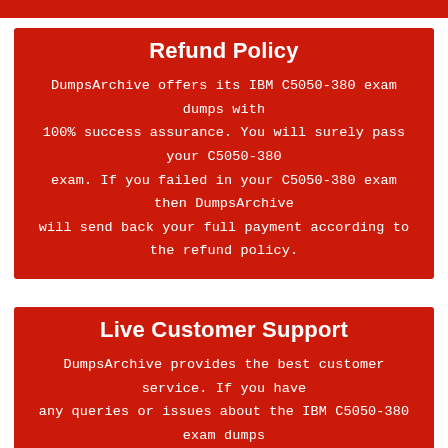Refund Policy
DumpsArchive offers its IBM C5050-380 exam dumps with 100% success assurance. You will surely pass your C5050-380 exam. If you failed in your C5050-380 exam then DumpsArchive will send back your full payment according to the refund policy.
Live Customer Support
DumpsArchive provides the best customer service. If you have any queries or issues about the IBM C5050-380 exam dumps then you can our support team anytime; your issue will be resolved right away.